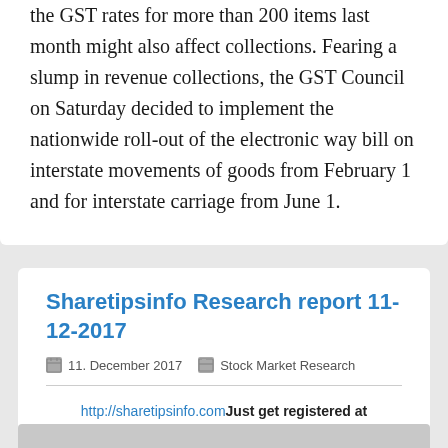the GST rates for more than 200 items last month might also affect collections. Fearing a slump in revenue collections, the GST Council on Saturday decided to implement the nationwide roll-out of the electronic way bill on interstate movements of goods from February 1 and for interstate carriage from June 1.
Sharetipsinfo Research report 11-12-2017
11. December 2017   Stock Market Research
http://sharetipsinfo.com Just get registered at Sharetipsinfo and earn positive returns